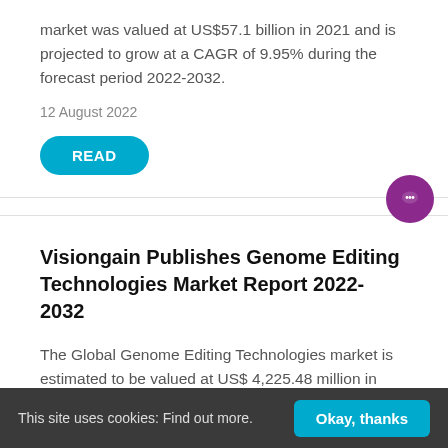market was valued at US$57.1 billion in 2021 and is projected to grow at a CAGR of 9.95% during the forecast period 2022-2032.
12 August 2022
READ
Visiongain Publishes Genome Editing Technologies Market Report 2022-2032
The Global Genome Editing Technologies market is estimated to be valued at US$ 4,225.48 million in 2022. The market is projected to reach a market value of
This site uses cookies: Find out more.
Okay, thanks